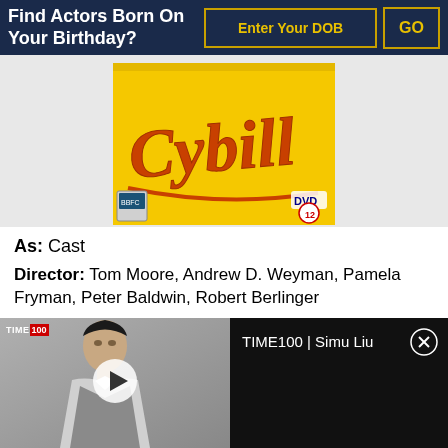Find Actors Born On Your Birthday?
[Figure (photo): Cybill DVD cover - yellow background with cursive orange/red 'Cybill' logo text, DVD logo in bottom right, film rating badge]
As: Cast
Director: Tom Moore, Andrew D. Weyman, Pamela Fryman, Peter Baldwin, Robert Berlinger
Genres: Comedy
[Figure (screenshot): TIME100 video player showing Simu Liu - video thumbnail on left with person and play button, TIME100 badge, black panel on right with title 'TIME100 | Simu Liu' and close button]